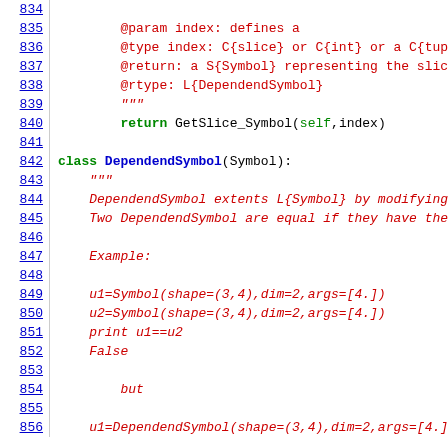Source code listing lines 834-856, Python code for DependendSymbol class
835: @param index: defines a
836: @type index: C{slice} or C{int} or a C{tupl
837: @return: a S{Symbol} representing the slice
838: @rtype: L{DependendSymbol}
839: """
840: return GetSlice_Symbol(self,index)
841: (empty)
842: class DependendSymbol(Symbol):
843:     """
844:     DependendSymbol extents L{Symbol} by modifying
845:     Two DependendSymbol are equal if they have the
846: (empty)
847:     Example:
848: (empty)
849:     u1=Symbol(shape=(3,4),dim=2,args=[4.])
850:     u2=Symbol(shape=(3,4),dim=2,args=[4.])
851:     print u1==u2
852:     False
853: (empty)
854:         but
855: (empty)
856:     u1=DependendSymbol(shape=(3,4),dim=2,args=[4.])